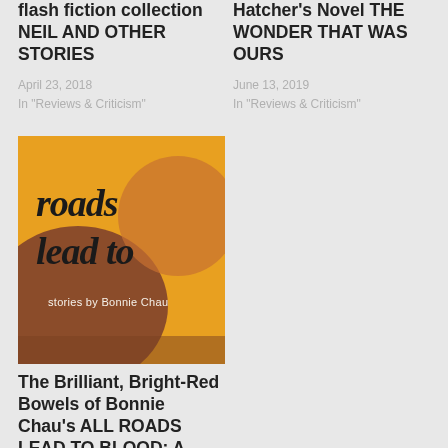flash fiction collection NEIL AND OTHER STORIES
April 23, 2018
In "Reviews & Criticism"
Hatcher's Novel THE WONDER THAT WAS OURS
June 13, 2019
In "Reviews & Criticism"
[Figure (photo): Book cover of All Roads Lead to Blood by Bonnie Chau, featuring cursive text 'roads lead to' on a warm orange/brown background with 'stories by Bonnie Chau' beneath]
The Brilliant, Bright-Red Bowels of Bonnie Chau's ALL ROADS LEAD TO BLOOD: A Review by Jesi Buell
September 4, 2018
In "Reviews & Criticism"